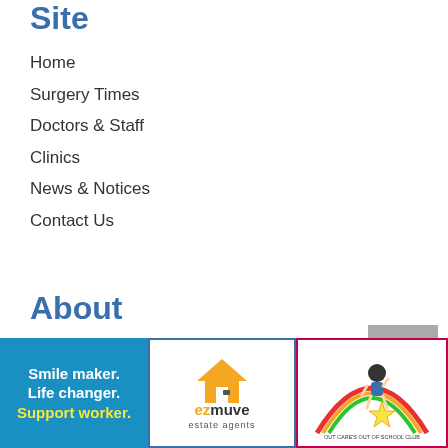Site
Home
Surgery Times
Doctors & Staff
Clinics
News & Notices
Contact Us
About
Sitemap
Sign In
Disclaimer
Website Privacy
Website Accessibility
[Figure (illustration): Back to top button with upward chevron arrow on grey background]
[Figure (illustration): Blue advertisement banner: Smile maker. Life changer. Support worker.]
[Figure (logo): ezmuve estate agents logo with orange house icon]
[Figure (logo): Out of school club logo with child on shooting star]